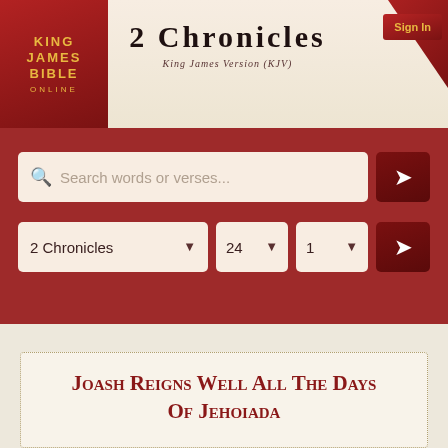2 Chronicles — King James Version (KJV)
[Figure (screenshot): King James Bible Online logo in red box with gold text]
[Figure (screenshot): Sign In ribbon button in top right corner]
2 Chronicles
King James Version (KJV)
[Figure (screenshot): Search bar with placeholder 'Search words or verses...' and arrow button, on red background]
[Figure (screenshot): Dropdown navigation: '2 Chronicles', '24', '1' with arrow go button]
Joash Reigns Well All The Days Of Jehoiada